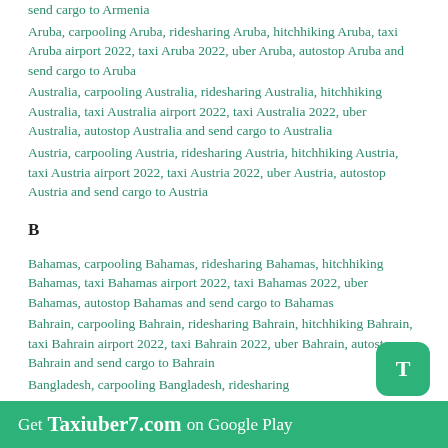send cargo to Armenia
Aruba, carpooling Aruba, ridesharing Aruba, hitchhiking Aruba, taxi Aruba airport 2022, taxi Aruba 2022, uber Aruba, autostop Aruba and send cargo to Aruba
Australia, carpooling Australia, ridesharing Australia, hitchhiking Australia, taxi Australia airport 2022, taxi Australia 2022, uber Australia, autostop Australia and send cargo to Australia
Austria, carpooling Austria, ridesharing Austria, hitchhiking Austria, taxi Austria airport 2022, taxi Austria 2022, uber Austria, autostop Austria and send cargo to Austria
B
Bahamas, carpooling Bahamas, ridesharing Bahamas, hitchhiking Bahamas, taxi Bahamas airport 2022, taxi Bahamas 2022, uber Bahamas, autostop Bahamas and send cargo to Bahamas
Bahrain, carpooling Bahrain, ridesharing Bahrain, hitchhiking Bahrain, taxi Bahrain airport 2022, taxi Bahrain 2022, uber Bahrain, autostop Bahrain and send cargo to Bahrain
Bangladesh, carpooling Bangladesh, ridesharing
Get Taxiuber7.com on Google Play